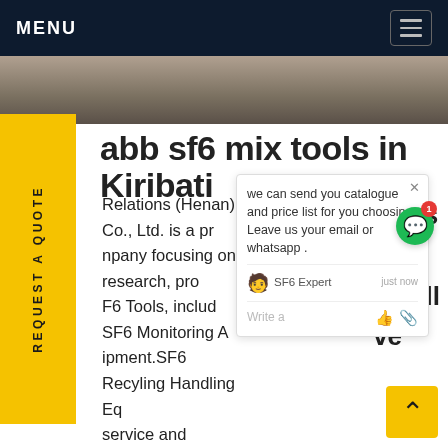MENU
[Figure (photo): Partial photo strip visible at top of page content area]
abb sf6 mix tools in Kiribati
Relations (Henan) Co., Ltd. is a pr npany focusing on research, pro F6 Tools, includ SF6 Monitoring A ipment.SF6 Recyling Handling Eq s On- service and training.There is you'll the Perfect SF6 solution for all y ve e 421 employees, factory covering asGet price
[Figure (screenshot): Chat popup overlay showing: 'we can send you catalogue and price list for you choosing. Leave us your email or whatsapp.' with SF6 Expert agent label and 'just now' timestamp, Write a prompt field with like and attachment icons. Green chat bubble with notification badge of 1.]
sales
[Figure (other): Yellow sidebar with rotated text REQUEST A QUOTE]